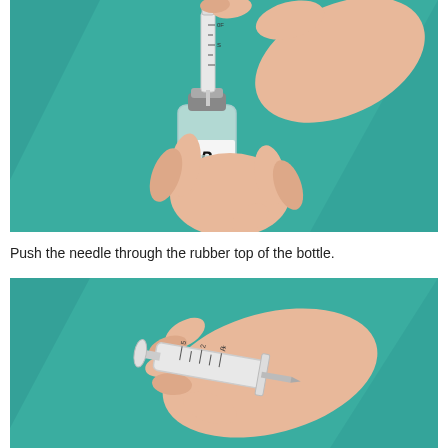[Figure (illustration): Illustration of two hands holding a syringe and inserting the needle into a rubber-topped medication vial labeled with Rx symbol. Teal/green background.]
Push the needle through the rubber top of the bottle.
[Figure (illustration): Illustration of a hand holding a syringe with the plunger being pushed down. Teal/green background. Syringe shows measurement markings.]